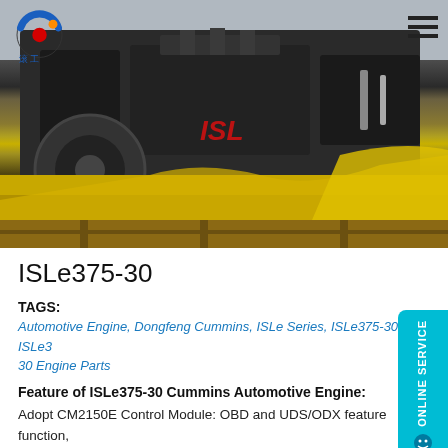[Figure (photo): ISLe375-30 Cummins diesel engine on a wooden pallet wrapped in yellow protective sheeting, dark engine block visible with ISL branding in red]
ISLe375-30
TAGS:
Automotive Engine, Dongfeng Cummins, ISLe Series, ISLe375-30, ISLe375-30 Engine Parts
Feature of ISLe375-30 Cummins Automotive Engine:
Adopt CM2150E Control Module: OBD and UDS/ODX feature function, best balance between fuel efficiency and emissions.
Powerful Control System Optimization driving performance optimization...